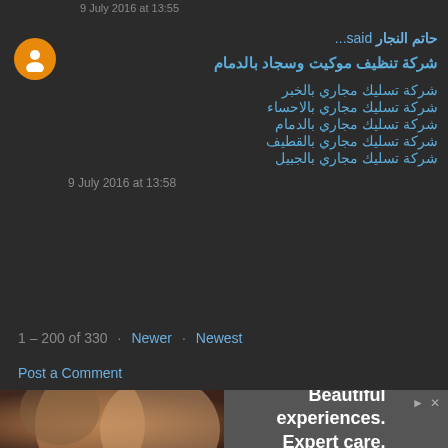9 July 2016 at 13:55
حاتم النجار said...
شركة تنظيف موكيت وسجاد بالدمام
شركة تسليك مجاري بالخبر
شركة تسليك مجاري بالاحساء
شركة تسليك مجاري بالدمام
شركة تسليك مجاري بالقطيف
شركة تسليك مجاري بالجبيل
9 July 2016 at 13:58
1 – 200 of 330  ·  Newer  ·  Newest
Post a Comment
[Figure (photo): Advertisement showing two people smiling with text 'Beautiful experiences. Expert care.']